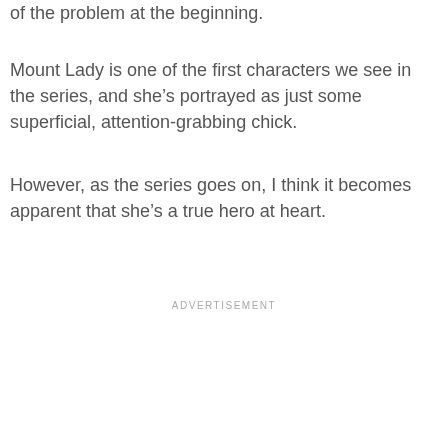of the problem at the beginning.
Mount Lady is one of the first characters we see in the series, and she's portrayed as just some superficial, attention-grabbing chick.
However, as the series goes on, I think it becomes apparent that she's a true hero at heart.
ADVERTISEMENT